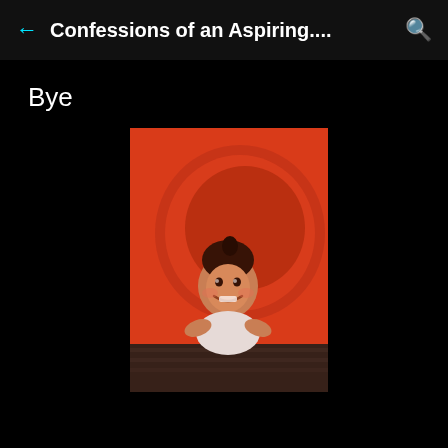Confessions of an Aspiring....
Bye
[Figure (photo): A young toddler smiling inside a red circular tube slide, viewed from the opening of the slide. The bottom of the slide shows a dark textured surface.]